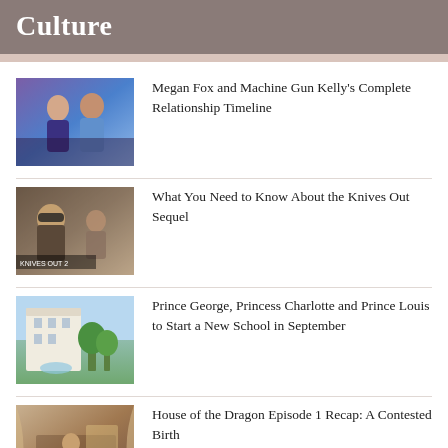Culture
Megan Fox and Machine Gun Kelly's Complete Relationship Timeline
What You Need to Know About the Knives Out Sequel
Prince George, Princess Charlotte and Prince Louis to Start a New School in September
House of the Dragon Episode 1 Recap: A Contested Birth